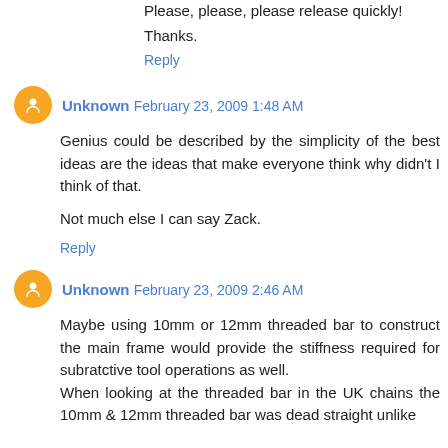Please, please, please release quickly!
Thanks.
Reply
Unknown  February 23, 2009 1:48 AM
Genius could be described by the simplicity of the best ideas are the ideas that make everyone think why didn't I think of that.

Not much else I can say Zack.
Reply
Unknown  February 23, 2009 2:46 AM
Maybe using 10mm or 12mm threaded bar to construct the main frame would provide the stiffness required for subratctive tool operations as well.
When looking at the threaded bar in the UK chains the 10mm & 12mm threaded bar was dead straight unlike